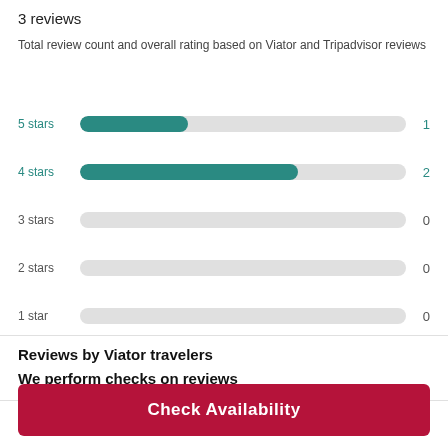3 reviews
Total review count and overall rating based on Viator and Tripadvisor reviews
[Figure (bar-chart): Star rating distribution]
Reviews by Viator travelers
We perform checks on reviews
Check Availability